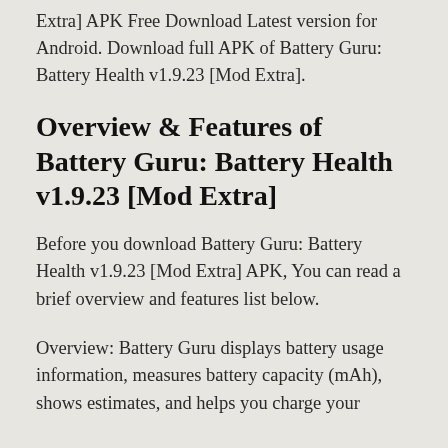Extra] APK Free Download Latest version for Android. Download full APK of Battery Guru: Battery Health v1.9.23 [Mod Extra].
Overview & Features of Battery Guru: Battery Health v1.9.23 [Mod Extra]
Before you download Battery Guru: Battery Health v1.9.23 [Mod Extra] APK, You can read a brief overview and features list below.
Overview: Battery Guru displays battery usage information, measures battery capacity (mAh), shows estimates, and helps you charge your...